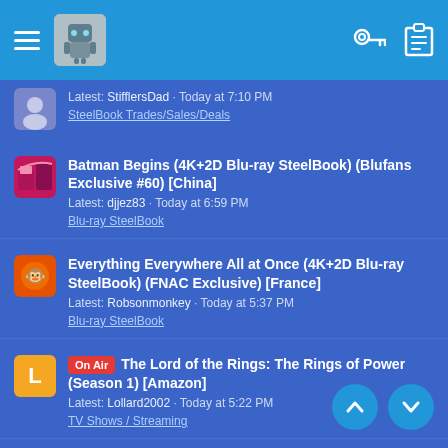Navigation bar with hamburger menu, avatar, key icon, clipboard icon
[partial] Latest: StifflersDad · Today at 7:10 PM
SteelBook Trades/Sales/Deals
Batman Begins (4K+2D Blu-ray SteelBook) (Blufans Exclusive #60) [China]
Latest: djjez83 · Today at 6:59 PM
Blu-ray SteelBook
Everything Everywhere All at Once (4K+2D Blu-ray SteelBook) (FNAC Exclusive) [France]
Latest: Robsonmonkey · Today at 5:37 PM
Blu-ray SteelBook
On Air The Lord of the Rings: The Rings of Power (Season 1) [Amazon]
Latest: Lollard2002 · Today at 5:22 PM
TV Shows / Streaming